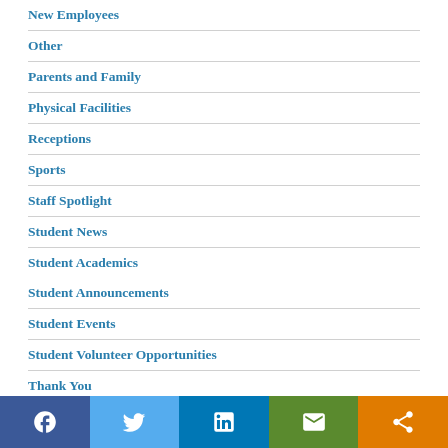New Employees
Other
Parents and Family
Physical Facilities
Receptions
Sports
Staff Spotlight
Student News
Student Academics
Student Announcements
Student Events
Student Volunteer Opportunities
Thank You
The S&T Store